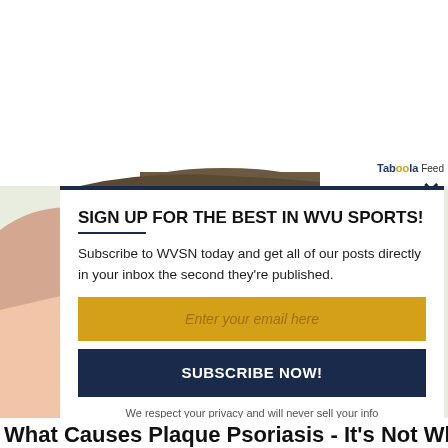[Figure (illustration): Background illustration showing a cartoon person's face/head partially visible on the left side, with a green/olive background. A dark hat brim is visible at the top center.]
Taboola Feed
SIGN UP FOR THE BEST IN WVU SPORTS!
Subscribe to WVSN today and get all of our posts directly in your inbox the second they're published.
Enter your email here
SUBSCRIBE NOW!
We respect your privacy and will never sell your info
What Causes Plaque Psoriasis - It's Not What